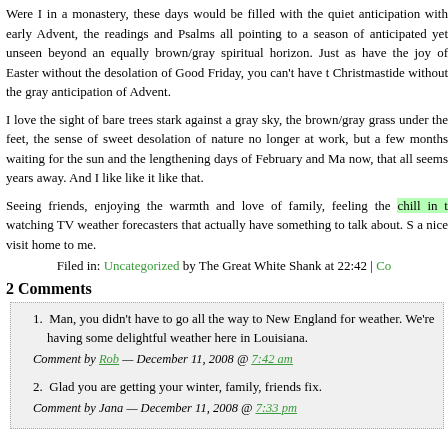Were I in a monastery, these days would be filled with the quiet anticipation with early Advent, the readings and Psalms all pointing to a season of anticipated yet unseen beyond an equally brown/gray spiritual horizon. Just as have the joy of Easter without the desolation of Good Friday, you can't have t Christmastide without the gray anticipation of Advent.
I love the sight of bare trees stark against a gray sky, the brown/gray grass under the feet, the sense of sweet desolation of nature no longer at work, but a few months waiting for the sun and the lengthening days of February and Ma now, that all seems years away. And I like like it like that.
Seeing friends, enjoying the warmth and love of family, feeling the chill in t watching TV weather forecasters that actually have something to talk about. S a nice visit home to me.
Filed in: Uncategorized by The Great White Shank at 22:42 | Co
2 Comments
1. Man, you didn't have to go all the way to New England for weather. We're having some delightful weather here in Louisiana.
Comment by Rob — December 11, 2008 @ 7:42 am
2. Glad you are getting your winter, family, friends fix.
Comment by Jana — December 11, 2008 @ 7:33 pm